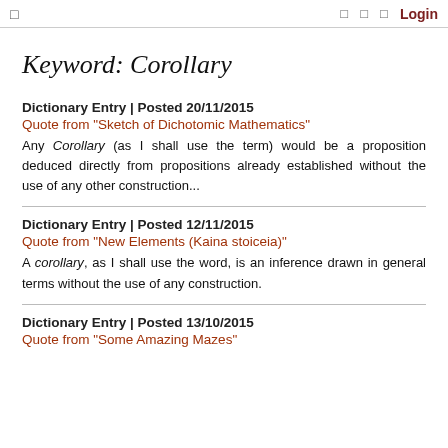□  □  □  □  Login
Keyword: Corollary
Dictionary Entry | Posted 20/11/2015
Quote from "Sketch of Dichotomic Mathematics"
Any Corollary (as I shall use the term) would be a proposition deduced directly from propositions already established without the use of any other construction...
Dictionary Entry | Posted 12/11/2015
Quote from "New Elements (Kaina stoiceia)"
A corollary, as I shall use the word, is an inference drawn in general terms without the use of any construction.
Dictionary Entry | Posted 13/10/2015
Quote from "Some Amazing Mazes"